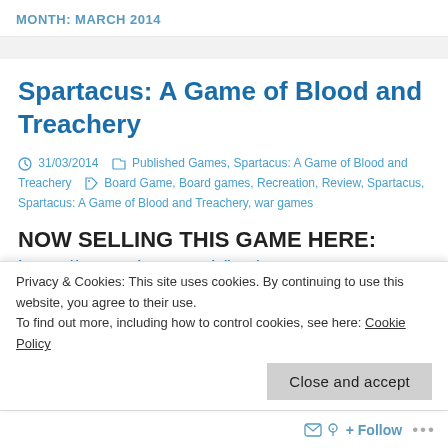MONTH: MARCH 2014
Spartacus: A Game of Blood and Treachery
31/03/2014  Published Games, Spartacus: A Game of Blood and Treachery  Board Game, Board games, Recreation, Review, Spartacus, Spartacus: A Game of Blood and Treachery, war games
NOW SELLING THIS GAME HERE:
https://www.ebay.co.uk/itm/Spartacus-A-
Privacy & Cookies: This site uses cookies. By continuing to use this website, you agree to their use.
To find out more, including how to control cookies, see here: Cookie Policy
Close and accept